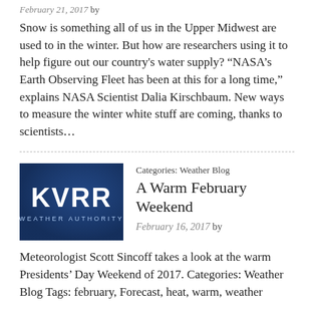February 21, 2017 by
Snow is something all of us in the Upper Midwest are used to in the winter. But how are researchers using it to help figure out our country's water supply? “NASA’s Earth Observing Fleet has been at this for a long time,” explains NASA Scientist Dalia Kirschbaum. New ways to measure the winter white stuff are coming, thanks to scientists…
[Figure (logo): KVRR Weather Authority logo on dark blue background]
Categories: Weather Blog
A Warm February Weekend
February 16, 2017 by
Meteorologist Scott Sincoff takes a look at the warm Presidents’ Day Weekend of 2017. Categories: Weather Blog Tags: february, Forecast, heat, warm, weather